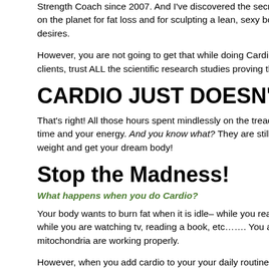Strength Coach since 2007. And I've discovered the secret to the most effective workouts on the planet for fat loss and for sculpting a lean, sexy body that everybody wants and desires.
However, you are not going to get that while doing Cardio workouts. Trust me, trust my clients, trust ALL the scientific research studies proving the fact!
CARDIO JUST DOESN'T WORK!
That's right! All those hours spent mindlessly on the treadmill, bike, elliptical ma... waste of time and your energy. And you know what? They are still preaching too... day to lose weight and get your dream body!
Stop the Madness!
What happens when you do Cardio?
Your body wants to burn fat when it is idle– while you read this, while you are at... asleep, while you are watching tv, reading a book, etc…... You are essentially a... your mitochondria are working properly.
However, when you add cardio to your your daily routine you are burning more... more fat while doing the cardio exercise.
BUT!!!!!!!
You are training your body to store body fat this way. The body is incredibly sm...